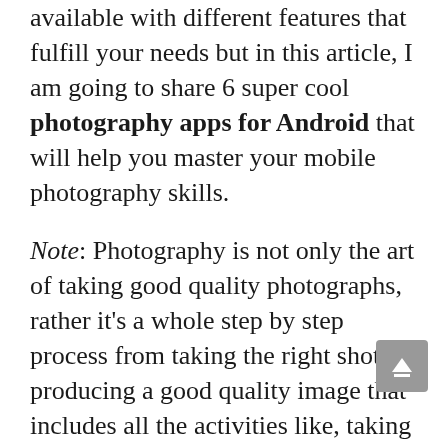available with different features that fulfill your needs but in this article, I am going to share 6 super cool photography apps for Android that will help you master your mobile photography skills.
Note: Photography is not only the art of taking good quality photographs, rather it's a whole step by step process from taking the right shot to producing a good quality image that includes all the activities like, taking the right photo, adjusting the colors, and other effects by editing the photo with some good apps then exporting it.
The applications listed below are covering